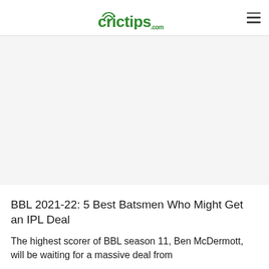crictips.com
[Figure (other): Advertisement / blank space area]
BBL 2021-22: 5 Best Batsmen Who Might Get an IPL Deal
The highest scorer of BBL season 11, Ben McDermott, will be waiting for a massive deal from